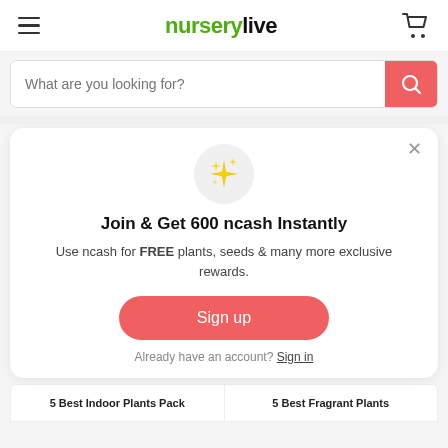nurserylive
What are you looking for?
[Figure (screenshot): Modal popup with sparkle icon, join & get 600 ncash instantly message, sign up button, and sign in link]
Join & Get 600 ncash Instantly
Use ncash for FREE plants, seeds & many more exclusive rewards.
Sign up
Already have an account? Sign in
5 Best Indoor Plants Pack
5 Best Fragrant Plants